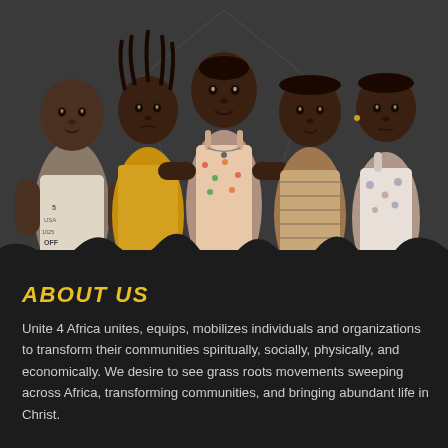[Figure (photo): Five African children standing together and smiling, posed against a dark background with a subtle pattern. Children are wearing various colorful clothes including a yellow dress, floral dress, and printed t-shirts.]
ABOUT US
Unite 4 Africa unites, equips, mobilizes individuals and organizations to transform their communities spiritually, socially, physically, and economically. We desire to see grass roots movements sweeping across Africa, transforming communities, and bringing abundant life in Christ.